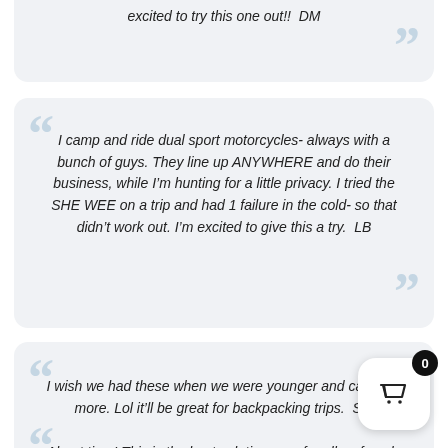excited to try this one out!!  DM
I camp and ride dual sport motorcycles- always with a bunch of guys. They line up ANYWHERE and do their business, while I’m hunting for a little privacy. I tried the SHE WEE on a trip and had 1 failure in the cold- so that didn’t work out. I’m excited to give this a try.  LB
I wish we had these when we were younger and camping more. Lol it’ll be great for backpacking trips.  SM
About time! This is the best solution ever for all us female